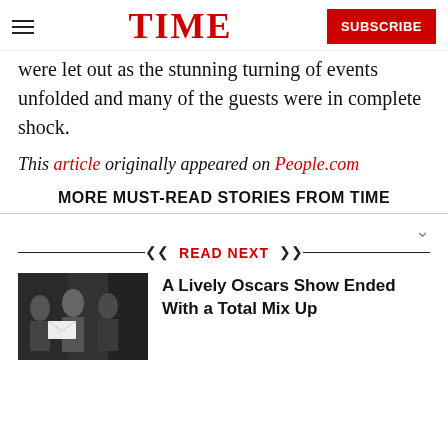TIME | SUBSCRIBE
were let out as the stunning turning of events unfolded and many of the guests were in complete shock.
This article originally appeared on People.com
MORE MUST-READ STORIES FROM TIME
READ NEXT
A Lively Oscars Show Ended With a Total Mix Up